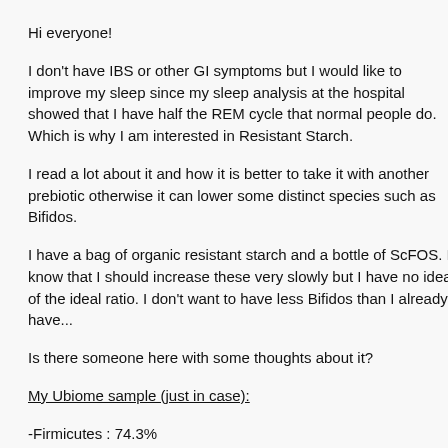Hi everyone!
I don't have IBS or other GI symptoms but I would like to improve my sleep since my sleep analysis at the hospital showed that I have half the REM cycle that normal people do. Which is why I am interested in Resistant Starch.
I read a lot about it and how it is better to take it with another prebiotic otherwise it can lower some distinct species such as Bifidos.
I have a bag of organic resistant starch and a bottle of ScFOS. I know that I should increase these very slowly but I have no idea of the ideal ratio. I don't want to have less Bifidos than I already have...
Is there someone here with some thoughts about it?
My Ubiome sample (just in case):
-Firmicutes : 74.3%
-Bacteroidetes : 22.22%